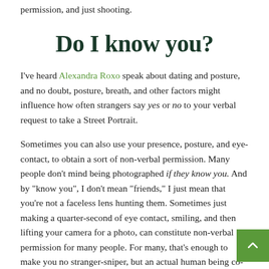permission, and just shooting.
Do I know you?
I've heard Alexandra Roxo speak about dating and posture, and no doubt, posture, breath, and other factors might influence how often strangers say yes or no to your verbal request to take a Street Portrait.
Sometimes you can also use your presence, posture, and eye-contact, to obtain a sort of non-verbal permission. Many people don't mind being photographed if they know you. And by "know you", I don't mean "friends," I just mean that you're not a faceless lens hunting them. Sometimes just making a quarter-second of eye contact, smiling, and then lifting your camera for a photo, can constitute non-verbal permission for many people. For many, that's enough to make you no stranger-sniper, but an actual human being co-inhabiting this ephemeral time and place, and you taking a picture is often